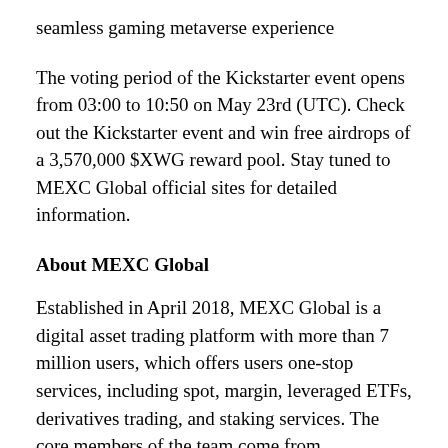seamless gaming metaverse experience
The voting period of the Kickstarter event opens from 03:00 to 10:50 on May 23rd (UTC). Check out the Kickstarter event and win free airdrops of a 3,570,000 $XWG reward pool. Stay tuned to MEXC Global official sites for detailed information.
About MEXC Global
Established in April 2018, MEXC Global is a digital asset trading platform with more than 7 million users, which offers users one-stop services, including spot, margin, leveraged ETFs, derivatives trading, and staking services. The core members of the team come from international enterprises and financial companies and have experience in blockchain and financial industries.
For more information, please visit the website and blog: